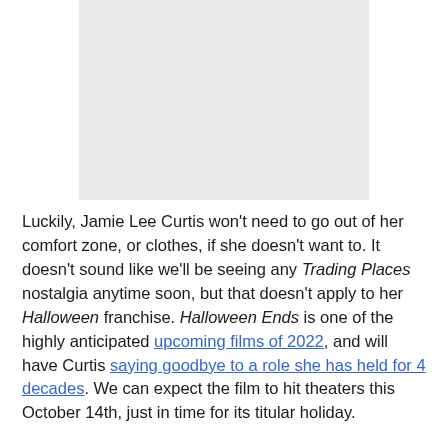[Figure (photo): Gray placeholder image block at the top of the page]
Luckily, Jamie Lee Curtis won't need to go out of her comfort zone, or clothes, if she doesn't want to. It doesn't sound like we'll be seeing any Trading Places nostalgia anytime soon, but that doesn't apply to her Halloween franchise. Halloween Ends is one of the highly anticipated upcoming films of 2022, and will have Curtis saying goodbye to a role she has held for 4 decades. We can expect the film to hit theaters this October 14th, just in time for its titular holiday.